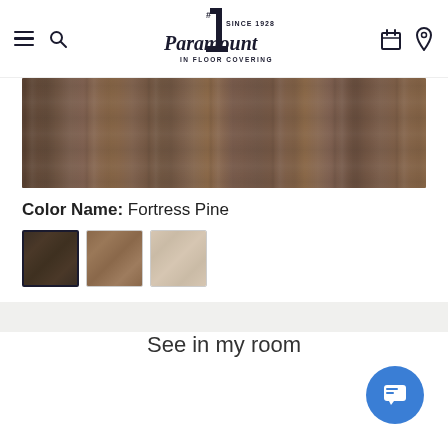[Figure (logo): Paramount #1 Since 1928 In Floor Covering logo with hamburger menu, search icon, calendar icon, and location pin icon in header]
[Figure (photo): Close-up photo of dark brown wood grain flooring plank texture — Fortress Pine color]
Color Name: Fortress Pine
[Figure (photo): Three color swatches for flooring: dark brown (active/selected with black border), medium brown, and light beige]
See in my room